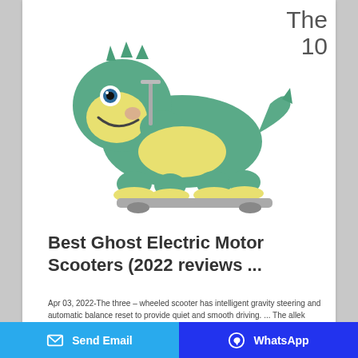The 10
[Figure (photo): A green and yellow dinosaur plush toy ride-on scooter product photo on white background]
Best Ghost Electric Motor Scooters (2022 reviews ...
Apr 03, 2022-The three – wheeled scooter has intelligent gravity steering and automatic balance reset to provide quiet and smooth driving. ... The allek Ghost electric motor scooter improves kids ' balance and coordination. ... Fitted with a 75ah lithium-ion battery, the scooter can provide a full mileage of 12. The adult electric powered scooter ...
Send Email  WhatsApp